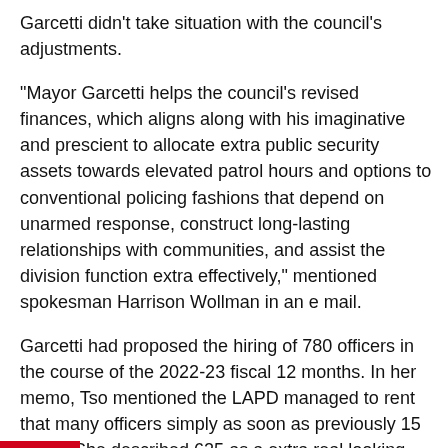Garcetti didn't take situation with the council's adjustments.
“Mayor Garcetti helps the council’s revised finances, which aligns along with his imaginative and prescient to allocate extra public security assets towards elevated patrol hours and options to conventional policing fashions that depend on unarmed response, construct long-lasting relationships with communities, and assist the division function extra effectively,” mentioned spokesman Harrison Wollman in an e mail.
Garcetti had proposed the hiring of 780 officers in the course of the 2022-23 fiscal 12 months. In her memo, Tso mentioned the LAPD managed to rent that many officers simply as soon as previously 15 years. She described 625 as a extra real looking objective, given town’s hiring difficulties.